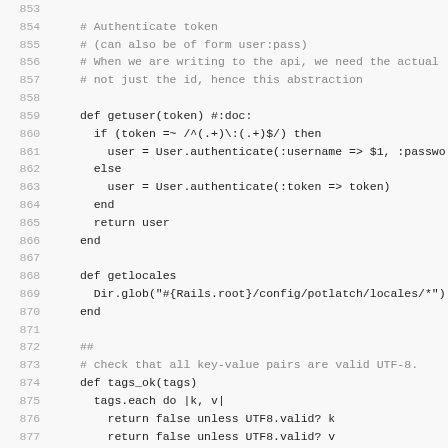[Figure (screenshot): Source code listing in monospace font with line numbers 853-885, showing Ruby code for getuser, getlocales, tags_ok, and strip characters functions with comments.]